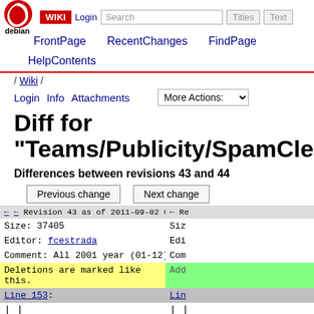WIKI  Login  Search  Titles  Text
FrontPage  RecentChanges  FindPage
HelpContents
/ Wiki /
Login  Info  Attachments  More Actions:
Diff for "Teams/Publicity/SpamClean"
Differences between revisions 43 and 44
Previous change   Next change
| Left | Right |
| --- | --- |
| ← ← Revision 43 as of 2011-09-02 02:47:39 → | ← Re |
| Size: 37405 | Siz |
| Editor: fcestrada | Edi |
| Comment: All 2001 year (01-12) checked | Com |
| Deletions are marked like this. | Add |
| Line 153: | Lin |
| | | | | | |